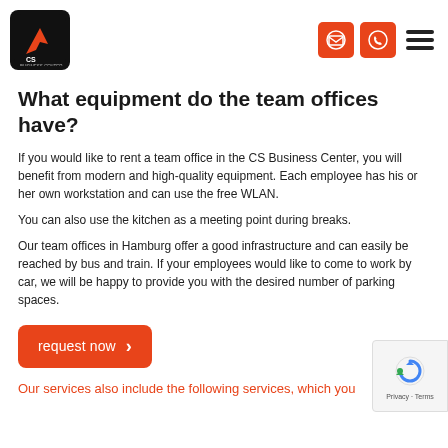CS Business Center logo, email icon, phone icon, menu
What equipment do the team offices have?
If you would like to rent a team office in the CS Business Center, you will benefit from modern and high-quality equipment. Each employee has his or her own workstation and can use the free WLAN.
You can also use the kitchen as a meeting point during breaks.
Our team offices in Hamburg offer a good infrastructure and can easily be reached by bus and train. If your employees would like to come to work by car, we will be happy to provide you with the desired number of parking spaces.
request now
Our services also include the following services, which you